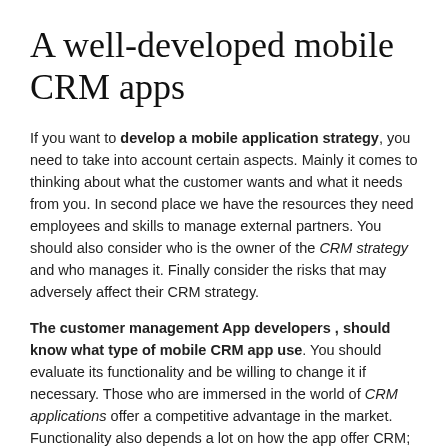A well-developed mobile CRM apps
If you want to develop a mobile application strategy, you need to take into account certain aspects. Mainly it comes to thinking about what the customer wants and what it needs from you. In second place we have the resources they need employees and skills to manage external partners. You should also consider who is the owner of the CRM strategy and who manages it. Finally consider the risks that may adversely affect their CRM strategy.
The customer management App developers , should know what type of mobile CRM app use. You should evaluate its functionality and be willing to change it if necessary. Those who are immersed in the world of CRM applications offer a competitive advantage in the market. Functionality also depends a lot on how the app offer CRM; It can be free or paid.
In another vein, it should be considered if increased demand for CRM applications, it is possible that enough trained